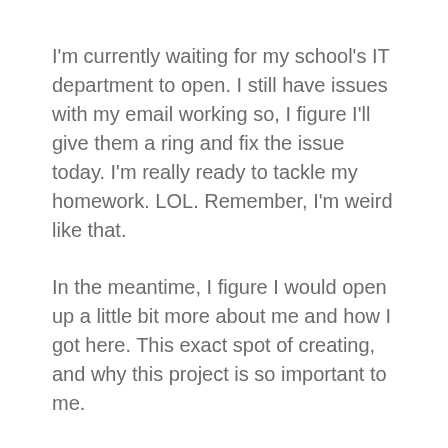I'm currently waiting for my school's IT department to open. I still have issues with my email working so, I figure I'll give them a ring and fix the issue today. I'm really ready to tackle my homework. LOL. Remember, I'm weird like that.
In the meantime, I figure I would open up a little bit more about me and how I got here. This exact spot of creating, and why this project is so important to me.
As you read earlier in my blogs, I have three kids, 16, 15, and 9.5. We are like most, making it paycheck to paycheck. I stay home because I have two disabled children. My eldest was diagnosed with an auto immune disease that caused him to have seizures from the time he was 2yrs old. He had a hemispheroctomy in